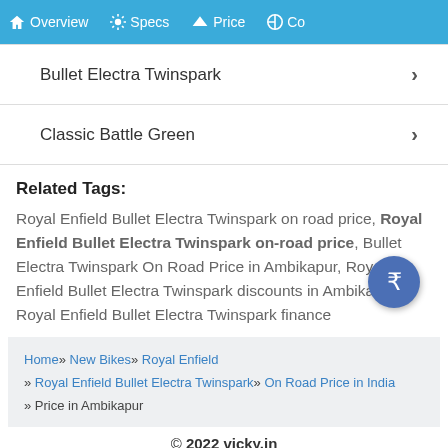Overview   Specs   Price   Co…
Bullet Electra Twinspark
Classic Battle Green
Related Tags:
Royal Enfield Bullet Electra Twinspark on road price, Royal Enfield Bullet Electra Twinspark on-road price, Bullet Electra Twinspark On Road Price in Ambikapur, Royal Enfield Bullet Electra Twinspark discounts in Ambikapur, Royal Enfield Bullet Electra Twinspark finance
Home» New Bikes» Royal Enfield » Royal Enfield Bullet Electra Twinspark» On Road Price in India » Price in Ambikapur
© 2022 vicky.in